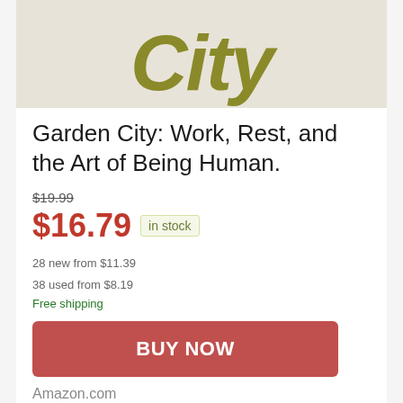[Figure (illustration): Partial book cover showing the word 'City' in large olive/yellow-green italic bold text on a beige/cream background]
Garden City: Work, Rest, and the Art of Being Human.
$19.99 (strikethrough original price)
$16.79  in stock
28 new from $11.39
38 used from $8.19
Free shipping
BUY NOW
Amazon.com
as of August 22, 2022 1:46 am ℹ